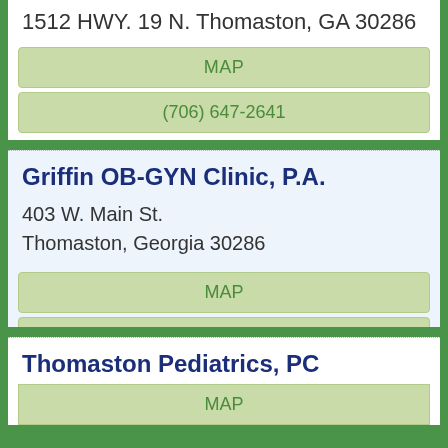1512 HWY. 19 N. Thomaston, GA 30286
MAP
(706) 647-2641
Griffin OB-GYN Clinic, P.A.
403 W. Main St.
Thomaston, Georgia 30286
MAP
(706) 646-2888
Thomaston Pediatrics, PC
403 W Gordon St Thomaston, GA 30286
MAP